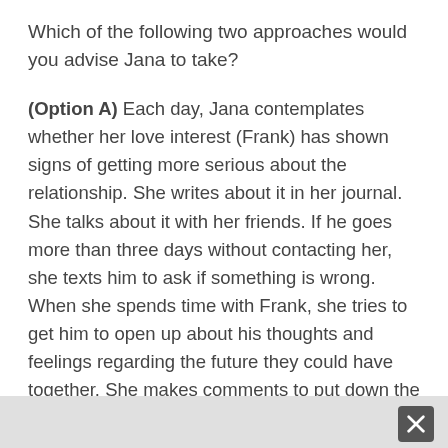Which of the following two approaches would you advise Jana to take?
(Option A) Each day, Jana contemplates whether her love interest (Frank) has shown signs of getting more serious about the relationship. She writes about it in her journal. She talks about it with her friends. If he goes more than three days without contacting her, she texts him to ask if something is wrong. When she spends time with Frank, she tries to get him to open up about his thoughts and feelings regarding the future they could have together. She makes comments to put down the other woman, acting like Frank is crazy for having an interest in her.